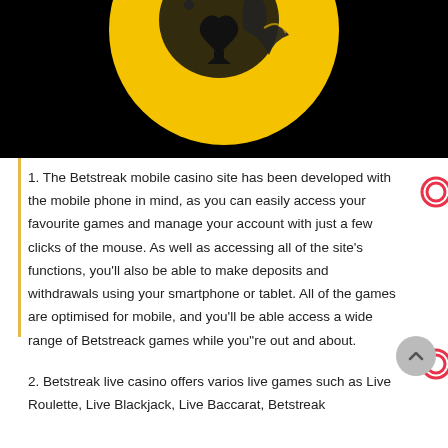[Figure (photo): Casino themed image with a gold and black skull wearing a spade symbol on a dark background]
1. The Betstreak mobile casino site has been developed with the mobile phone in mind, as you can easily access your favourite games and manage your account with just a few clicks of the mouse. As well as accessing all of the site's functions, you'll also be able to make deposits and withdrawals using your smartphone or tablet. All of the games are optimised for mobile, and you'll be able access a wide range of Betstreack games while you"re out and about.
2. Betstreak live casino offers varios live games such as Live Roulette, Live Blackjack, Live Baccarat, Betstreak